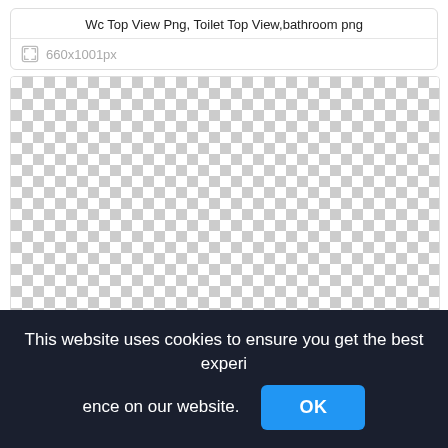Wc Top View Png, Toilet Top View,bathroom png
660x1001px
[Figure (other): Checkerboard pattern representing a transparent PNG image preview area (660x1001px)]
This website uses cookies to ensure you get the best experience on our website.